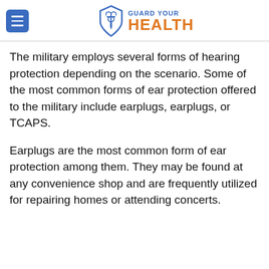Guard Your Health
The military employs several forms of hearing protection depending on the scenario. Some of the most common forms of ear protection offered to the military include earplugs, earplugs, or TCAPS.
Earplugs are the most common form of ear protection among them. They may be found at any convenience shop and are frequently utilized for repairing homes or attending concerts.